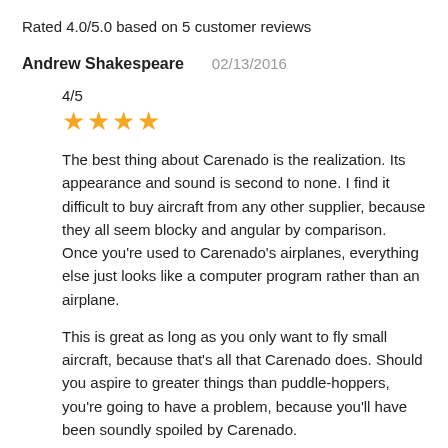Rated 4.0/5.0 based on 5 customer reviews
Andrew Shakespeare    02/13/2016
4/5
★★★★
The best thing about Carenado is the realization. Its appearance and sound is second to none. I find it difficult to buy aircraft from any other supplier, because they all seem blocky and angular by comparison. Once you're used to Carenado's airplanes, everything else just looks like a computer program rather than an airplane.
This is great as long as you only want to fly small aircraft, because that's all that Carenado does. Should you aspire to greater things than puddle-hoppers, you're going to have a problem, because you'll have been soundly spoiled by Carenado.
I've had a great time flying the B1900 for months now. I couldn't be more pleased with my purchase. Countless hours of fun. I'd recommend it to anybody who wants a virtual prop